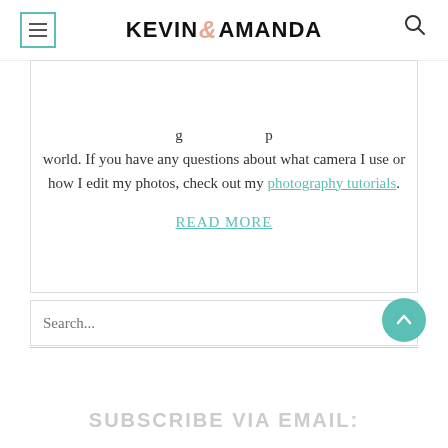KEVIN & AMANDA
world. If you have any questions about what camera I use or how I edit my photos, check out my photography tutorials.
READ MORE
Search...
SUBSCRIBE VIA EMAIL: